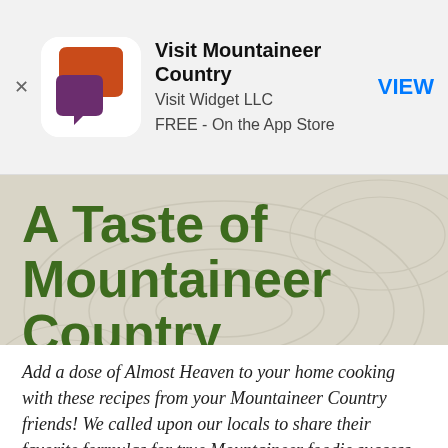[Figure (screenshot): App Store banner advertisement for 'Visit Mountaineer Country' app by Visit Widget LLC, free on the App Store, with a VIEW button]
A Taste of Mountaineer Country
From Our Kitchen to Yours!
Add a dose of Almost Heaven to your home cooking with these recipes from your Mountaineer Country friends! We called upon our locals to share their favorite formulas for true Mountaineer foodie success on social media. Here's what they said!